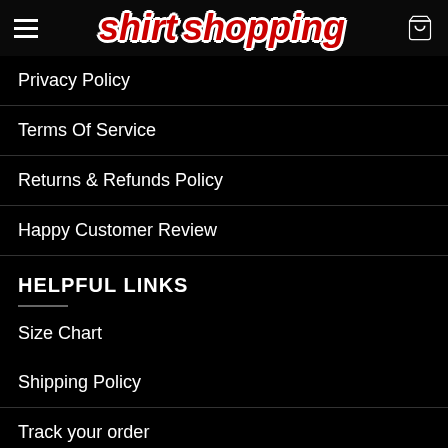shirt shopping
Privacy Policy
Terms Of Service
Returns & Refunds Policy
Happy Customer Review
HELPFUL LINKS
Size Chart
Shipping Policy
Track your order
Terms and Conditions